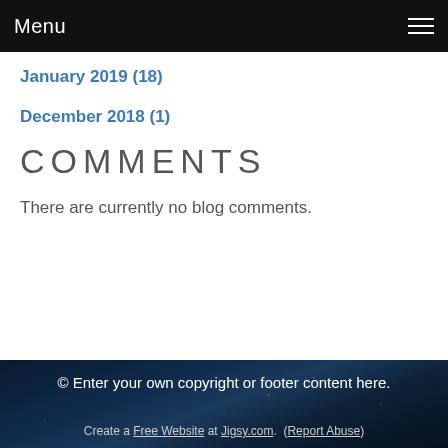Menu
January 2019 (18)
December 2018 (1)
COMMENTS
There are currently no blog comments.
© Enter your own copyright or footer content here.
Create a Free Website at Jigsy.com. (Report Abuse)